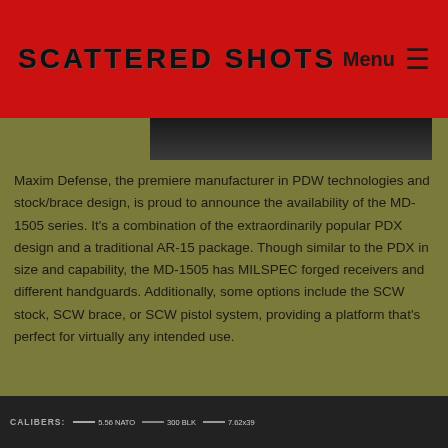SCATTERED SHOTS | Menu ☰
[Figure (photo): Dark partial image of a firearm at the top of the content area]
Maxim Defense, the premiere manufacturer in PDW technologies and stock/brace design, is proud to announce the availability of the MD-1505 series. It's a combination of the extraordinarily popular PDX design and a traditional AR-15 package. Though similar to the PDX in size and capability, the MD-1505 has MILSPEC forged receivers and different handguards. Additionally, some options include the SCW stock, SCW brace, or SCW pistol system, providing a platform that's perfect for virtually any intended use.
[Figure (photo): Dark image of a firearm at the bottom with caliber legend showing 5.56 NATO, 300 BLK, 7.62x39]